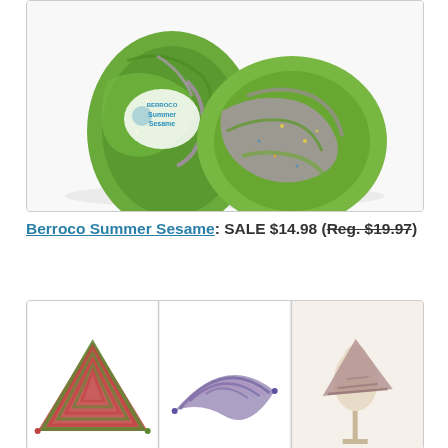[Figure (photo): Two skeins of Berroco Summer Sesame yarn in green, purple, and multicolor tones on a white background. The label reads 'Berroco Summer Sesame'.]
Berroco Summer Sesame: SALE $14.98 (Reg. $19.97)
[Figure (photo): Three thumbnail photos of shawl/wrap knitting projects made from yarn: left shows a striped red/green triangular shawl, center shows a purple/gray crescent shawl, right shows a multicolor triangular shawl on a mannequin.]